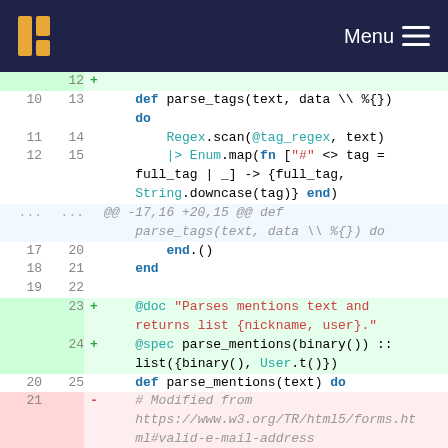Menu
[Figure (screenshot): Code diff viewer showing Elixir source code with added and removed lines, line numbers on left, green highlighted added lines and red highlighted removed lines, monospace font on dark navy navigation bar background]
12 +
10 13     def parse_tags(text, data \\ %{})
    do
11 14         Regex.scan(@tag_regex, text)
12 15         |> Enum.map(fn ["#" <> tag =
    full_tag | _] -> {full_tag,
    String.downcase(tag)} end)
... ...  @@ -17,16 +20,15 @@ def
    parse_tags(text, data \\ %{}) do
17 20         end).()
18 21     end
19 22
   23 +   @doc "Parses mentions text and
    returns list {nickname, user}."
   24 +   @spec parse_mentions(binary()) ::
    list({binary(), User.t()})
20 25     def parse_mentions(text) do
21    -   # Modified from
    https://www.w3.org/TR/html5/forms.ht
    ml#valid-e-mail-address